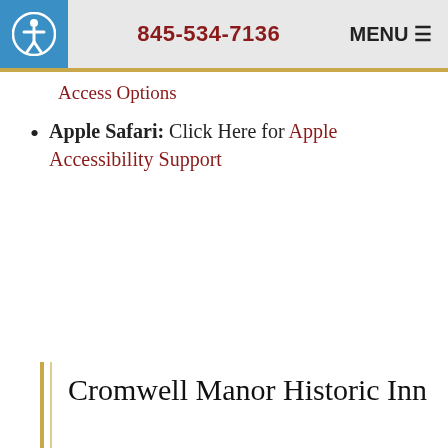845-534-7136  MENU
Access Options
Apple Safari: Click Here for Apple Accessibility Support
Cromwell Manor Historic Inn
174 Angola Road
Cornwall, NY  12518
Phone: (845) 534-7136
Email: cmi@cromwellmanorinn.com
Book Online